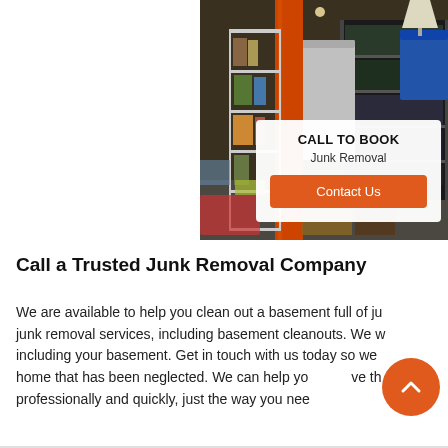[Figure (photo): A cluttered basement storage area with metal shelving units filled with various items, an orange support pole, and boxes on the floor.]
CALL TO BOOK
Junk Removal
Contact Us
Call a Trusted Junk Removal Company
We are available to help you clean out a basement full of junk removal services, including basement cleanouts. We w including your basement. Get in touch with us today so we home that has been neglected. We can help yo ve th professionally and quickly, just the way you nee